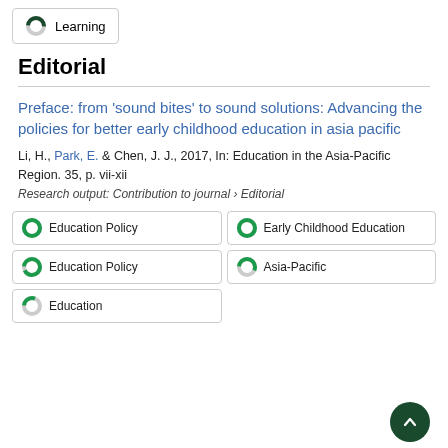[Figure (other): Learning badge with half-filled donut icon]
Editorial
Preface: from ‘sound bites’ to sound solutions: Advancing the policies for better early childhood education in asia pacific
Li, H., Park, E. & Chen, J. J., 2017, In: Education in the Asia-Pacific Region. 35, p. vii-xii
Research output: Contribution to journal › Editorial
[Figure (other): Education Policy badge with full green donut]
[Figure (other): Early Childhood Education badge with full green donut]
[Figure (other): Education Policy badge with nearly full green donut]
[Figure (other): Asia-Pacific badge with half-filled donut]
[Figure (other): Education badge with quarter-filled donut]